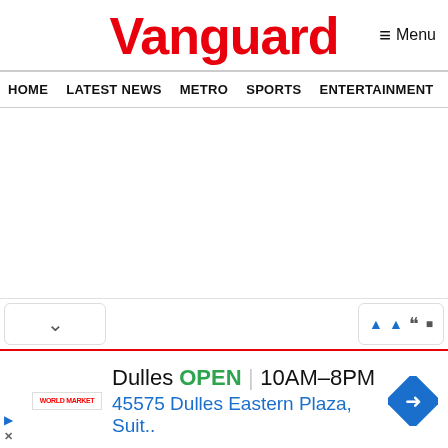Vanguard
≡ Menu
HOME  LATEST NEWS  METRO  SPORTS  ENTERTAINMENT  VIDEOS
[Figure (screenshot): Empty white content area below navigation bar]
[Figure (screenshot): UI control bar with chevron/collapse button on left and playback controls on right]
[Figure (infographic): Advertisement for World Market Dulles location: OPEN 10AM-8PM, 45575 Dulles Eastern Plaza, Suit., with navigation arrow icon and play/close controls]